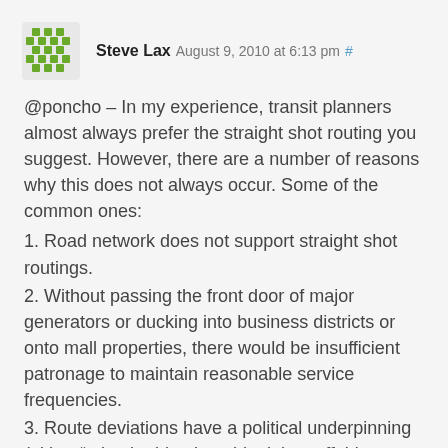Steve Lax August 9, 2010 at 6:13 pm #
@poncho – In my experience, transit planners almost always prefer the straight shot routing you suggest. However, there are a number of reasons why this does not always occur. Some of the common ones:
1. Road network does not support straight shot routings.
2. Without passing the front door of major generators or ducking into business districts or onto mall properties, there would be insufficient patronage to maintain reasonable service frequencies.
3. Route deviations have a political underpinning (either “take the blamkety-blank bus off this street segment” or “we desperately need the bus on this street